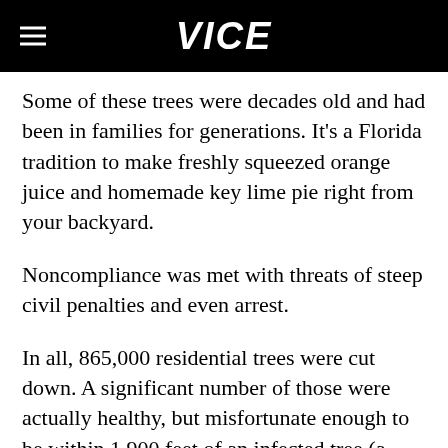VICE
Some of these trees were decades old and had been in families for generations. It’s a Florida tradition to make freshly squeezed orange juice and homemade key lime pie right from your backyard.
Noncompliance was met with threats of steep civil penalties and even arrest.
In all, 865,000 residential trees were cut down. A significant number of those were actually healthy, but misfortunate enough to be within 1,900 feet of an infected tree (a major extension